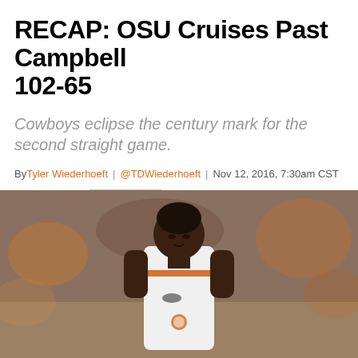RECAP: OSU Cruises Past Campbell 102-65
Cowboys eclipse the century mark for the second straight game.
By Tyler Wiederhoeft | @TDWiederhoeft | Nov 12, 2016, 7:30am CST
[Figure (photo): OSU basketball player in white and orange uniform on court with blurred crowd in background]